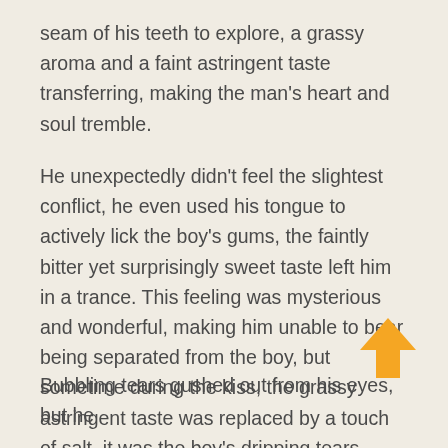seam of his teeth to explore, a grassy aroma and a faint astringent taste transferring, making the man's heart and soul tremble.
He unexpectedly didn't feel the slightest conflict, he even used his tongue to actively lick the boy's gums, the faintly bitter yet surprisingly sweet taste left him in a trance. This feeling was mysterious and wonderful, making him unable to bear being separated from the boy, but sometime during the kiss, the grassy astringent taste was replaced by a touch of salt, it was the boy's dripping tears.
He quickly let go, carefully observing his expression.
[Figure (illustration): An upward-pointing arrow icon in orange/golden color, positioned at the bottom right of the page.]
Bubbling tears gushed out from his eyes, but he